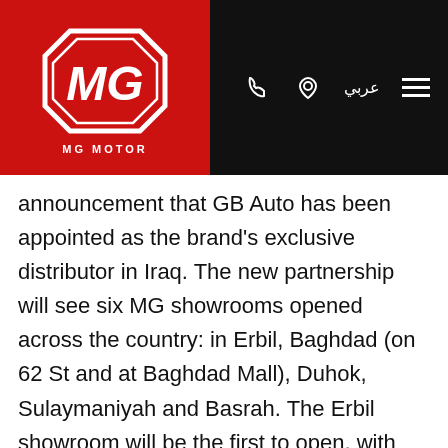[Figure (logo): MG Motor logo — white MG octagon on red background with 'MG MOTOR' text below, on a black navigation header bar with phone icon, location icon, Arabic text 'عربي', and hamburger menu icon]
announcement that GB Auto has been appointed as the brand's exclusive distributor in Iraq. The new partnership will see six MG showrooms opened across the country: in Erbil, Baghdad (on 62 St and at Baghdad Mall), Duhok, Sulaymaniyah and Basrah. The Erbil showroom will be the first to open, with sales starting in the first week of August 2020.
With MG's entry into the Iraq market, local car buyers will shortly be able to experience the